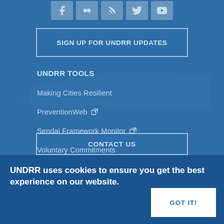[Figure (screenshot): Social media icons row: Facebook, Flickr, RSS, Twitter, YouTube]
SIGN UP FOR UNDRR UPDATES
UNDRR TOOLS
Making Cities Resilient
PreventionWeb (external link)
Sendai Framework Monitor (external link)
Voluntary Commitments
CONTACT US
UNDRR uses cookies to ensure you get the best experience on our website.
GOT IT!